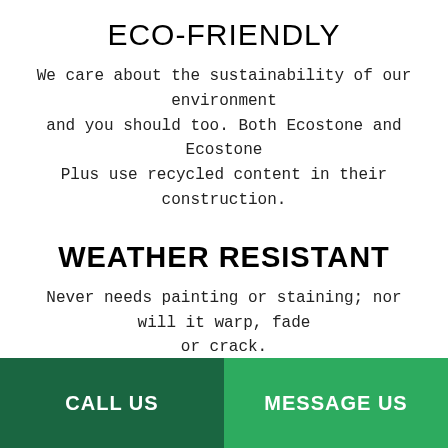ECO-FRIENDLY
We care about the sustainability of our environment and you should too. Both Ecostone and Ecostone Plus use recycled content in their construction.
WEATHER RESISTANT
Never needs painting or staining; nor will it warp, fade or crack.
SUPERIOR WARRANTY
CALL US
MESSAGE US